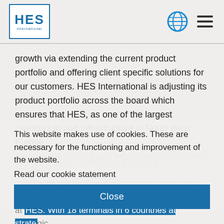HES International
growth via extending the current product portfolio and offering client specific solutions for our customers. HES International is adjusting its product portfolio across the board which ensures that HES, as one of the largest investors in port infrastructure in North West Europe, remains the leading port infrastructure company for dry- and liquid bulk in Europe.
ABOUT HES INTERNATIONAL
Contributing to the world of tomorrow, that's what we do at HES. With 18 terminals in 6 countries at strategic located ports in Europe we are an important switch in the continuous delivery of essential building blocks for our everyday life, and to keep our economy in competitive shape.
This website makes use of cookies. These are necessary for the functioning and improvement of the website.
Read our cookie statement
Close